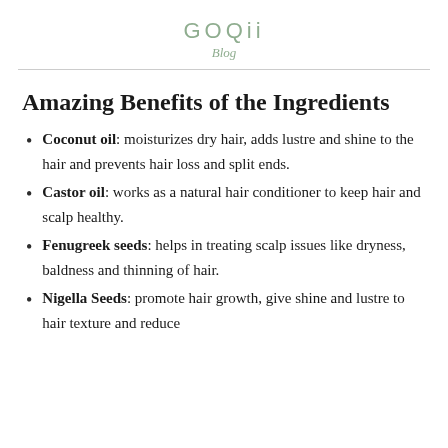GOQii
Blog
Amazing Benefits of the Ingredients
Coconut oil: moisturizes dry hair, adds lustre and shine to the hair and prevents hair loss and split ends.
Castor oil: works as a natural hair conditioner to keep hair and scalp healthy.
Fenugreek seeds: helps in treating scalp issues like dryness, baldness and thinning of hair.
Nigella Seeds: promote hair growth, give shine and lustre to hair texture and reduce